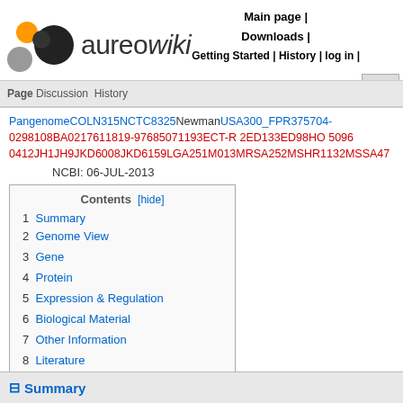aureowiki | Main page | Downloads | Getting Started | History | log in
Pangenome COLN315 NCTC8325 Newman USA300_FPR375704-0298108 BA0217611819-97685071193 ECT-R 2ED133 ED98 HO 5096 0412 JH1 JH9 JKD6008 JKD6159 LGA251 M013 MRSA252 MSHR1132 MSSA47...
NCBI: 06-JUL-2013
| Contents | [hide] |
| --- | --- |
| 1 | Summary |
| 2 | Genome View |
| 3 | Gene |
| 4 | Protein |
| 5 | Expression & Regulation |
| 6 | Biological Material |
| 7 | Other Information |
| 8 | Literature |
Summary